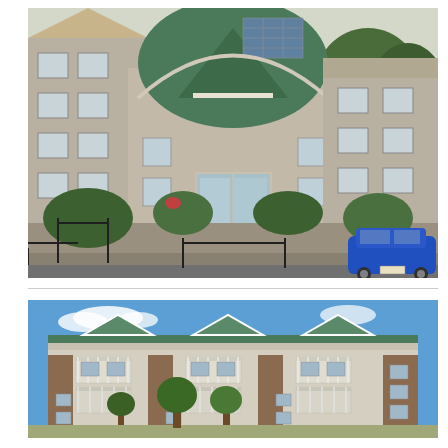[Figure (photo): Exterior photo of a building with a distinctive green metal peaked roof and dome, stone/brick facade, large glass entrance doors with steps leading up, black metal railings, landscaped bushes, and a blue car parked to the right. Taken in summer with trees visible in background.]
[Figure (photo): Exterior photo of a multi-story apartment building with beige/tan siding, brown brick accent panels, white balcony railings on multiple units, green metal roof, and young trees in front. Blue sky with light clouds in background.]